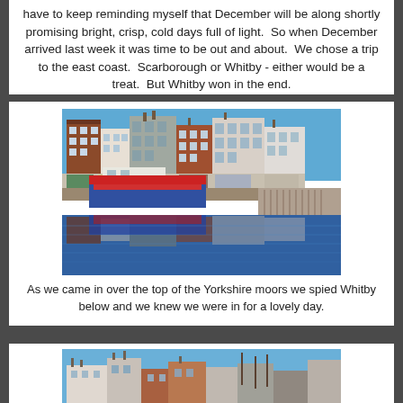have to keep reminding myself that December will be along shortly promising bright, crisp, cold days full of light.  So when December arrived last week it was time to be out and about.  We chose a trip to the east coast.  Scarborough or Whitby - either would be a treat.  But Whitby won in the end.
[Figure (photo): Whitby harbour with colourful buildings along the waterfront and a red-canopied boat moored at the quay, reflected in the still harbour water.]
As we came in over the top of the Yorkshire moors we spied Whitby below and we knew we were in for a lovely day.
[Figure (photo): Whitby townscape showing historic buildings with chimneys and rooftops against a blue sky, partial view cropped at the bottom of the page.]